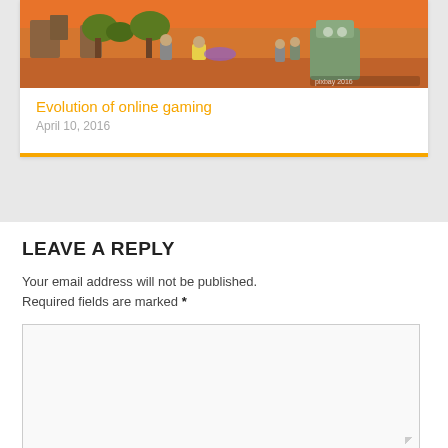[Figure (screenshot): Pixel-art retro game screenshot with orange background showing game characters fighting, including armored soldiers and a large creature.]
Evolution of online gaming
April 10, 2016
LEAVE A REPLY
Your email address will not be published. Required fields are marked *